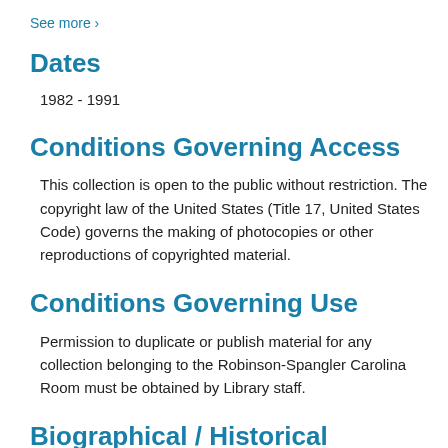See more >
Dates
1982 - 1991
Conditions Governing Access
This collection is open to the public without restriction. The copyright law of the United States (Title 17, United States Code) governs the making of photocopies or other reproductions of copyrighted material.
Conditions Governing Use
Permission to duplicate or publish material for any collection belonging to the Robinson-Spangler Carolina Room must be obtained by Library staff.
Biographical / Historical
Carla DuPuy chaired the Mecklenburg Board of County Commissioners from 1984 to 1990. She also spent six